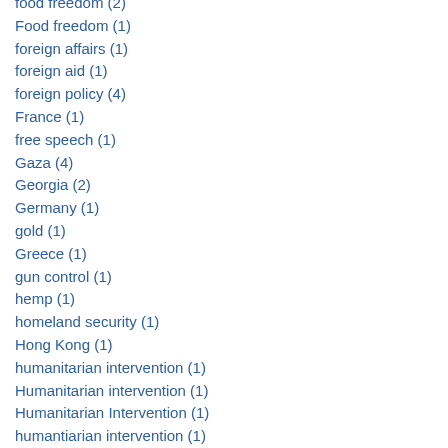food freedom (2)
Food freedom (1)
foreign affairs (1)
foreign aid (1)
foreign policy (4)
France (1)
free speech (1)
Gaza (4)
Georgia (2)
Germany (1)
gold (1)
Greece (1)
gun control (1)
hemp (1)
homeland security (1)
Hong Kong (1)
humanitarian intervention (1)
Humanitarian intervention (1)
Humanitarian Intervention (1)
humantiarian intervention (1)
immigration (1)
Indonesia (1)
intervention (2)
Intervention (1)